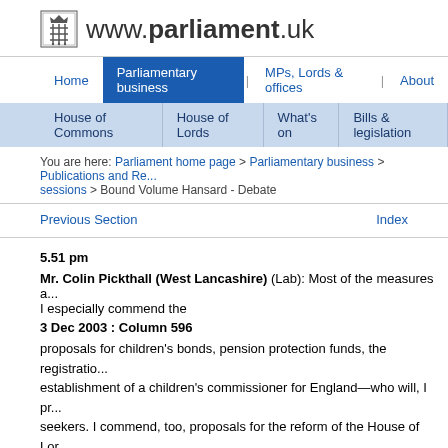www.parliament.uk
Home | Parliamentary business | MPs, Lords & offices | About
House of Commons | House of Lords | What's on | Bills & legislation
You are here: Parliament home page > Parliamentary business > Publications and Records > sessions > Bound Volume Hansard - Debate
Previous Section   Index
5.51 pm
Mr. Colin Pickthall (West Lancashire) (Lab): Most of the measures a... I especially commend the
3 Dec 2003 : Column 596
proposals for children's bonds, pension protection funds, the registratio... establishment of a children's commissioner for England—who will, I pr... seekers. I commend, too, proposals for the reform of the House of Lor... and Compulsory Purchase Bill, and I very much hope that it will includ... I strongly support the Home Secretary's proposals for draft legislation... hunting—and I look forward to that. I very much welcome the fact tha...